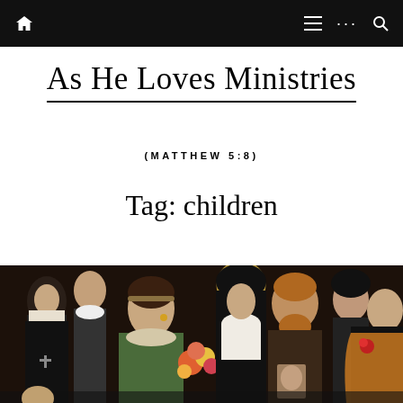Navigation bar with home icon, menu, dots, and search icons
As He Loves Ministries
(MATTHEW 5:8)
Tag: children
[Figure (illustration): Religious oil painting depicting a family group: saints and holy figures including a central nun with halo, a bearded man, a woman in green dress holding flowers, and other nuns/sisters arranged in a group portrait on dark background]